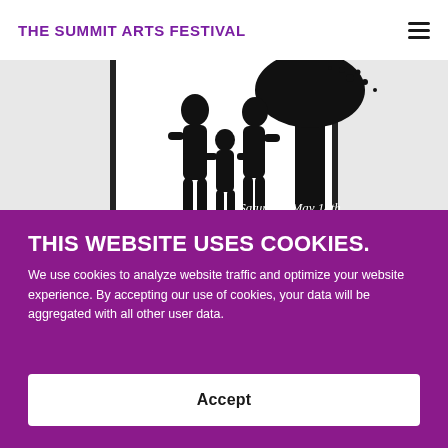THE SUMMIT ARTS FESTIVAL
[Figure (photo): Black and white silhouette illustration of a family (two adults and a child) holding hands, standing outdoors with a tree. Text reads 'Saturday, May 14th'.]
THIS WEBSITE USES COOKIES.
We use cookies to analyze website traffic and optimize your website experience. By accepting our use of cookies, your data will be aggregated with all other user data.
Accept